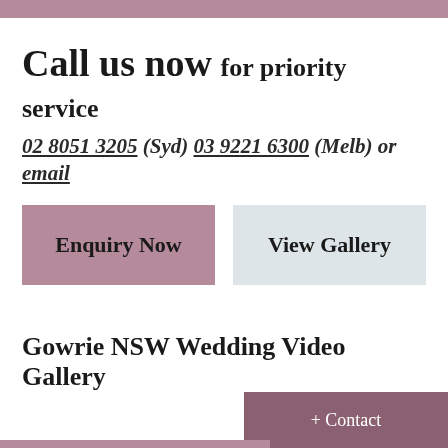Call us now for priority service
02 8051 3205 (Syd) 03 9221 6300 (Melb) or email
Enquiry Now
View Gallery
Gowrie NSW Wedding Video Gallery
+ Contact